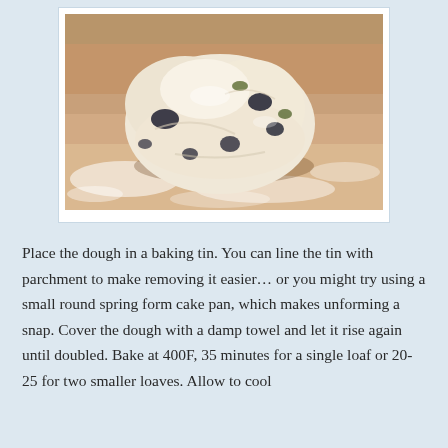[Figure (photo): A ball of bread dough with dark inclusions (olives or similar) sitting on a floured wooden surface. The dough is pale/cream colored and the surface is dusted with white flour.]
Place the dough in a baking tin. You can line the tin with parchment to make removing it easier... or you might try using a small round spring form cake pan, which makes unforming a snap. Cover the dough with a damp towel and let it rise again until doubled. Bake at 400F, 35 minutes for a single loaf or 20-25 for two smaller loaves. Allow to cool